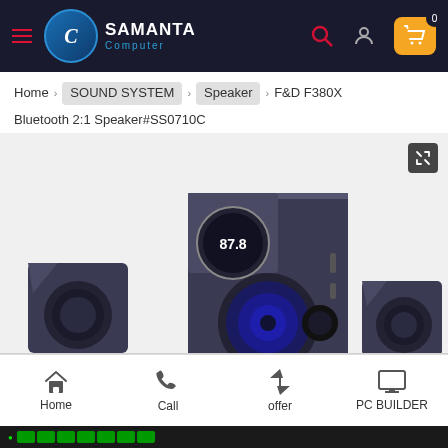Samanta Computer — navigation header with logo, search, user, and cart icons
Home > SOUND SYSTEM > Speaker > F&D F380X Bluetooth 2:1 Speaker#SS0710C
[Figure (photo): F&D F380X Bluetooth 2:1 Speaker product photo showing a 2.1 speaker system with a large subwoofer in the center featuring a blue glowing woofer and digital display, flanked by two satellite speakers.]
Home | Call | offer | PC BUILDER